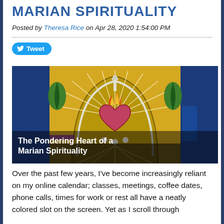MARIAN SPIRITUALITY
Posted by Theresa Rice on Apr 28, 2020 1:54:00 PM
[Figure (illustration): Stained glass window depicting the Sacred Heart with flames, rays of light, and floral decorations in gold, blue, red, and green colors. Overlay text reads: The Pondering Heart of a Marian Spirituality]
Over the past few years, I’ve become increasingly reliant on my online calendar; classes, meetings, coffee dates, phone calls, times for work or rest all have a neatly colored slot on the screen. Yet as I scroll through